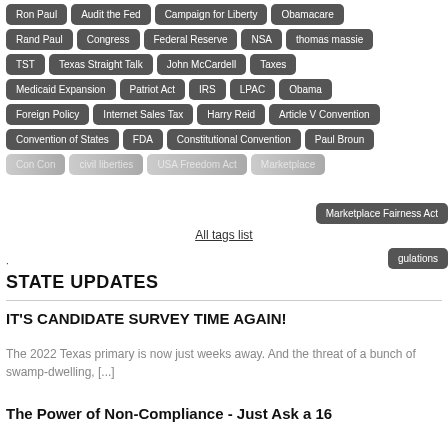Ron Paul, Audit the Fed, Campaign for Liberty, Obamacare, Rand Paul, Congress, Federal Reserve, NSA, thomas massie, TST, Texas Straight Talk, John McCardell, Taxes, Medicaid Expansion, Patriot Act, IRS, LPAC, Obama, Foreign Policy, Internet Sales Tax, Harry Reid, Article V Convention, Convention of States, FDA, Constitutional Convention, Paul Broun, Con Con, civil liberties, USA Freedom Act, Marketplace Fairness Act, regulations
All tags list
STATE UPDATES
IT'S CANDIDATE SURVEY TIME AGAIN!
The 2022 Texas primary is now just weeks away. And the threat of a bunch of swamp-dwelling, [...]
The Power of Non-Compliance - Just Ask a 16